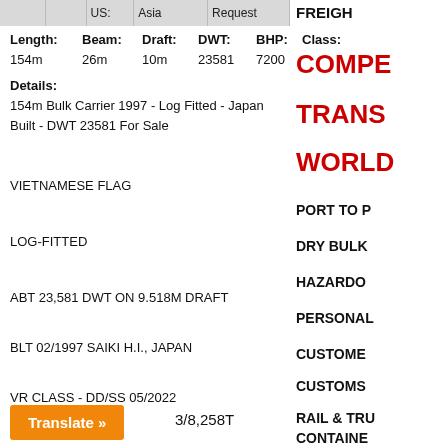|  |  | US: | Asia | Request |
| --- | --- | --- | --- | --- |
|  |
Length: 154m   Beam: 26m   Draft: 10m   DWT: 23581   BHP: 7200   Class:
Details:
154m Bulk Carrier 1997 - Log Fitted - Japan Built - DWT 23581 For Sale
VIETNAMESE FLAG
LOG-FITTED
ABT 23,581 DWT ON 9.518M DRAFT
BLT 02/1997 SAIKI H.I., JAPAN
VR CLASS - DD/SS 05/2022
3/8,258T
FREIGHT
COMPE
TRANS
WORLD
PORT TO P
DRY BULK
HAZARDO
PERSONAL
CUSTOME
CUSTOMS
RAIL & TRU
CONTAINE